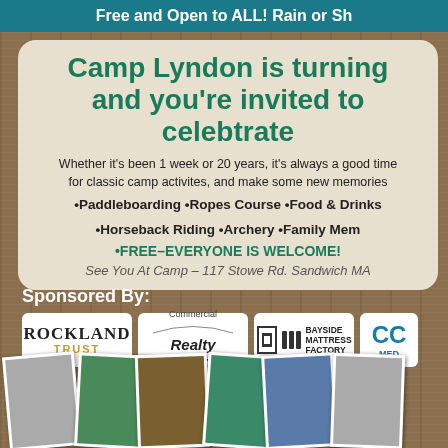Free and Open to ALL! Rain or Sh
Camp Lyndon is turning and you’re invited to celebtrate
Whether it’s been 1 week or 20 years, it’s always a good time for classic camp activites, and make some new memories
•Paddleboarding •Ropes Course •Food & Drinks
•Horseback Riding •Archery •Family Mem
•FREE–EVERYONE IS WELCOME!
See You At Camp – 117 Stowe Rd. Sandwich MA
Sponsored By:
[Figure (logo): Rockland Trust logo]
[Figure (logo): Commercial Realty Advisors logo]
[Figure (logo): Bayside Mattress Factory logo]
[Figure (logo): CC Media logo (partially visible)]
[Figure (photo): Row of camp photo snapshots in white frames]